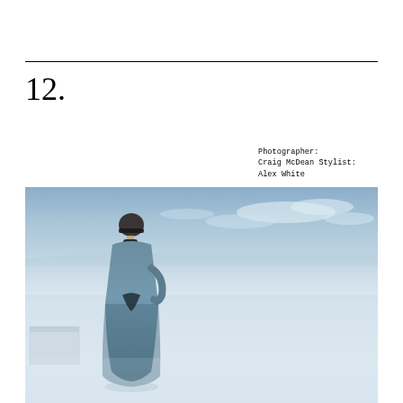12.
Photographer: Craig McDean Stylist: Alex White
[Figure (photo): Fashion editorial photograph by Craig McDean. A female model wearing a long teal/blue patterned dress and a dark helmet or headpiece stands in a vast flat white/grey salt flat landscape with pale blue sky and distant mountains.]